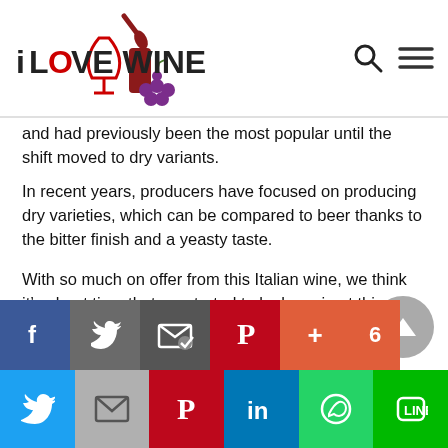iLOVEWINE
and had previously been the most popular until the shift moved to dry variants.
In recent years, producers have focused on producing dry varieties, which can be compared to beer thanks to the bitter finish and a yeasty taste.
With so much on offer from this Italian wine, we think it’s about time that we started to look again at this family of grapes and learn to love Lambrusco.
[Figure (other): Social media sharing buttons: Facebook, Twitter, email, Pinterest, plus counter (6), and a row of Twitter, Mail, Pinterest, LinkedIn, WhatsApp, Line buttons]